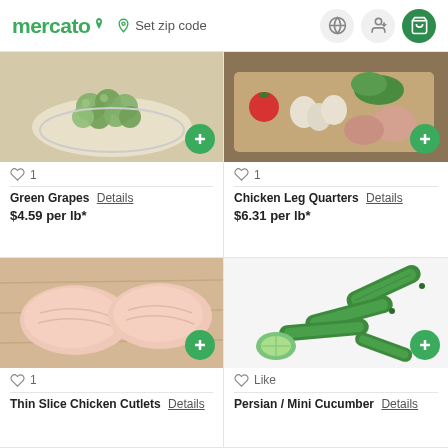mercato  Set zip code
[Figure (photo): Green grapes in a bowl on a wooden surface]
♡ 1
Green Grapes Details
$4.59 per lb*
[Figure (photo): Chicken leg quarters with tomatoes, garlic and herbs on a cutting board]
♡ 1
Chicken Leg Quarters Details
$6.31 per lb*
[Figure (photo): Two thin slice chicken cutlets on a wooden cutting board]
♡ 1
Thin Slice Chicken Cutlets Details
[Figure (photo): Persian / mini cucumbers on a white background]
♡ Like
Persian / Mini Cucumber Details